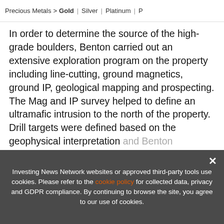Precious Metals > Gold | Silver | Platinum | P
In order to determine the source of the high-grade boulders, Benton carried out an extensive exploration program on the property including line-cutting, ground magnetics, ground IP, geological mapping and prospecting. The Mag and IP survey helped to define an ultramafic intrusion to the north of the property. Drill targets were defined based on the geophysical interpretation and Benton intersected the ultramafic intrusion hole ... ion was ... same degree as in the boulders.
[Figure (screenshot): Ad banner for 'TOP BASE METALS Stocks, Trends, Forecasts — 2022 Base Metals Outlook Report' by INN with UPDATED! badge and close button]
Investing News Network websites or approved third-party tools use cookies. Please refer to the cookie policy for collected data, privacy and GDPR compliance. By continuing to browse the site, you agree to our use of cookies.